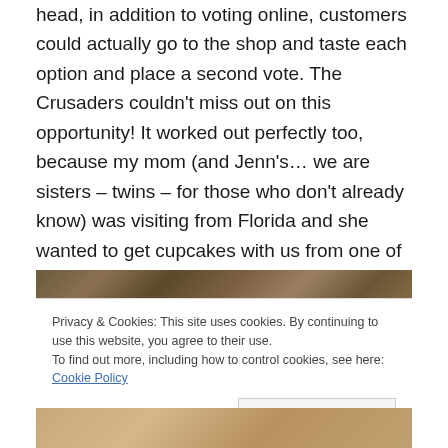head, in addition to voting online, customers could actually go to the shop and taste each option and place a second vote. The Crusaders couldn't miss out on this opportunity! It worked out perfectly too, because my mom (and Jenn's… we are sisters – twins – for those who don't already know) was visiting from Florida and she wanted to get cupcakes with us from one of our favorite places. The two final flavors we got to try were Crème Brûlée and Tiramisu.
[Figure (photo): Photo of cupcakes or baked goods, partially obscured by cookie consent banner]
Privacy & Cookies: This site uses cookies. By continuing to use this website, you agree to their use.
To find out more, including how to control cookies, see here: Cookie Policy
Close and accept